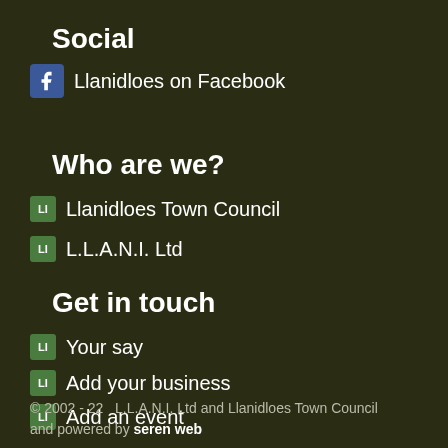Social
Llanidloes on Facebook
Who are we?
Llanidloes Town Council
L.L.A.N.I. Ltd
Get in touch
Your say
Add your business
Add an event
© 2002 - 22   L.L.A.N.I. Ltd and Llanidloes Town Council and powered by seren web